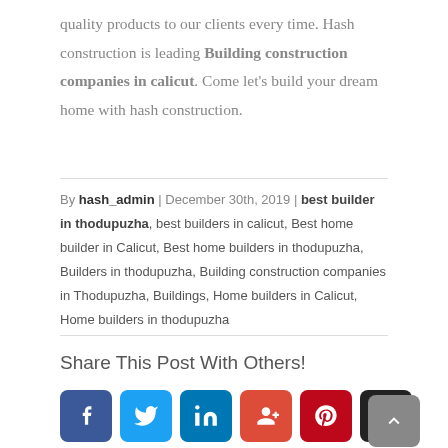quality products to our clients every time. Hash construction is leading Building construction companies in calicut. Come let's build your dream home with hash construction.
By hash_admin | December 30th, 2019 | best builder in thodupuzha, best builders in calicut, Best home builder in Calicut, Best home builders in thodupuzha, Builders in thodupuzha, Building construction companies in Thodupuzha, Buildings, Home builders in Calicut, Home builders in thodupuzha
Share This Post With Others!
[Figure (other): Social share buttons: Facebook, Twitter, LinkedIn, Google+, Pinterest, Email]